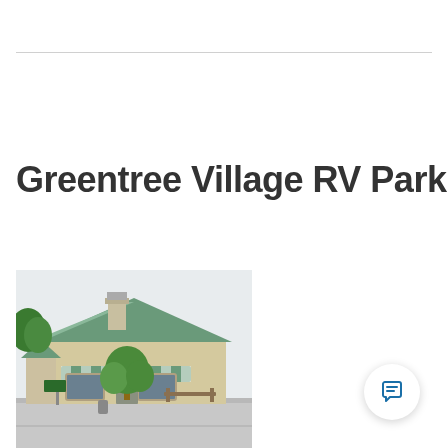Greentree Village RV Park
[Figure (photo): Exterior photo of Greentree Village RV Park building: a beige/tan stucco building with a green gabled roof, green and white striped awnings over windows, a small tree in front, and a paved parking area in the foreground.]
[Figure (other): Chat/message button icon — a circular white button with a blue speech bubble icon, placed in the lower right corner.]